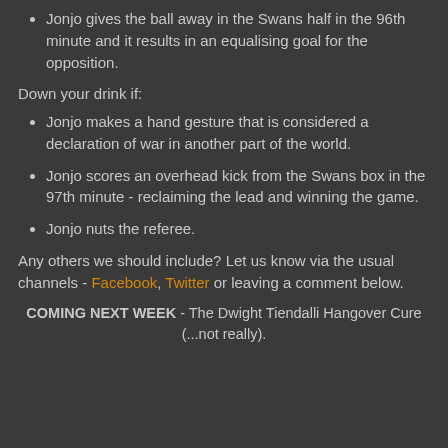Jonjo gives the ball away in the Swans half in the 96th minute and it results in an equalising goal for the opposition.
Down your drink if:
Jonjo makes a hand gesture that is considered a declaration of war in another part of the world.
Jonjo scores an overhead kick from the Swans box in the 97th minute - reclaiming the lead and winning the game.
Jonjo nuts the referee.
Any others we should include? Let us know via the usual channels - Facebook, Twitter or leaving a comment below.
COMING NEXT WEEK - The Dwight Tiendalli Hangover Cure (...not really).